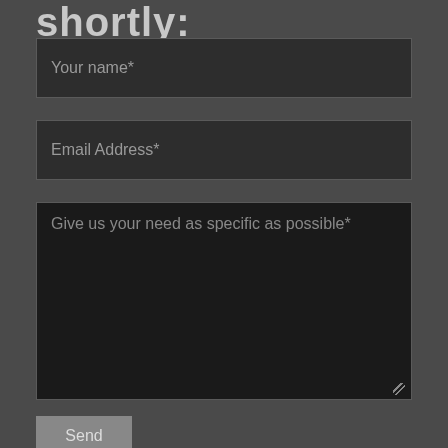shortly:
Your name*
Email Address*
Give us your need as specific as possible*
Send